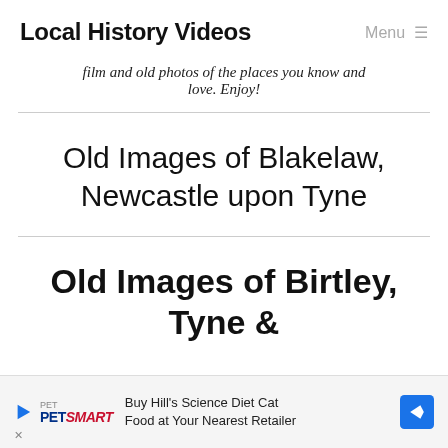Local History Videos  Menu ≡
film and old photos of the places you know and love. Enjoy!
Old Images of Blakelaw, Newcastle upon Tyne
Old Images of Birtley, Tyne &
[Figure (other): PetSmart advertisement: Buy Hill's Science Diet Cat Food at Your Nearest Retailer]